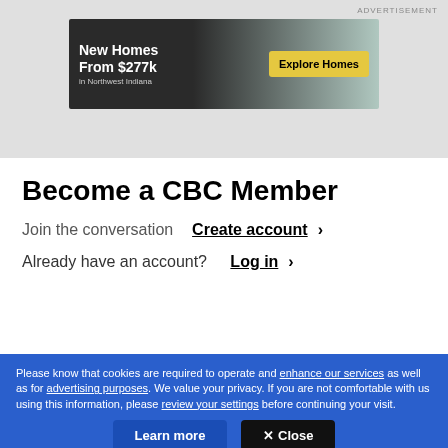[Figure (screenshot): Advertisement banner for New Homes From $277k in Northwest Indiana with Explore Homes button]
Become a CBC Member
Join the conversation  Create account ›
Already have an account?   Log in ›
Please know that cookies are required to operate and enhance our services as well as for advertising purposes. We value your privacy. If you are not comfortable with us using this information, please review your settings before continuing your visit.